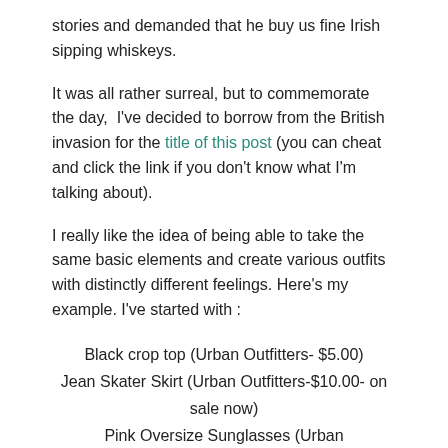stories and demanded that he buy us fine Irish sipping whiskeys.
It was all rather surreal, but to commemorate the day,  I've decided to borrow from the British invasion for the title of this post (you can cheat and click the link if you don't know what I'm talking about).
I really like the idea of being able to take the same basic elements and create various outfits with distinctly different feelings. Here's my example. I've started with :
Black crop top (Urban Outfitters- $5.00)
Jean Skater Skirt (Urban Outfitters-$10.00- on sale now)
Pink Oversize Sunglasses (Urban Outfitters-$18.00 in stores now)
Blue Floral Tights (Thrifted-$2.00)
Pink Cut-Out Walking Shoes (Clarks UK)
I know it's noxiously UO, but I've been skulking along their sales racks. You can recreate virtually the same look (give or take the cropped shirt) fairly easily and inexpensively (although I'd advise